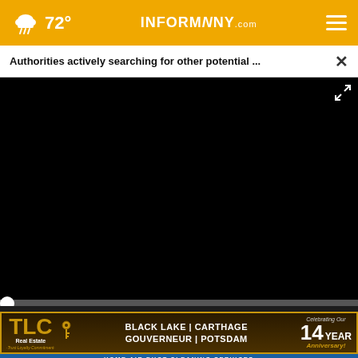72° INFORMNNY.com
Authorities actively searching for other potential ... ×
[Figure (screenshot): Black video player area showing a paused/loading video]
[Figure (screenshot): Video player controls: play button, mute icon, 00:00 timestamp, caption icon, fullscreen icon]
[Figure (logo): Partial Colene logo visible in white ad strip with blue borders]
[Figure (infographic): TLC Real Estate advertisement: BLACK LAKE | CARTHAGE, GOUVERNEUR | POTSDAM, Celebrating Our 14 YEAR Anniversary!]
HOME AIR DUCT CLEANING SERVICES